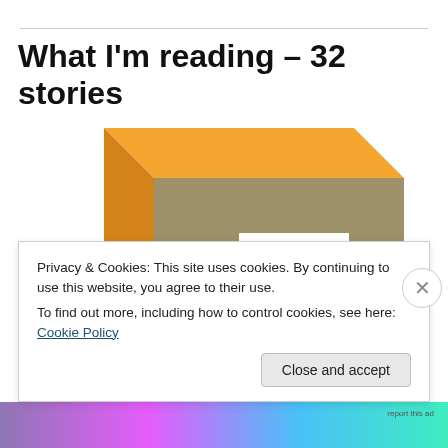What I'm reading – 32 stories
[Figure (photo): Book box set: Adrian Tomine – 32 Stories, The Complete Optic Nerve Mini-Comics, shown as a 3D box with orange top and tan/khaki front face with white lettering.]
Privacy & Cookies: This site uses cookies. By continuing to use this website, you agree to their use.
To find out more, including how to control cookies, see here: Cookie Policy